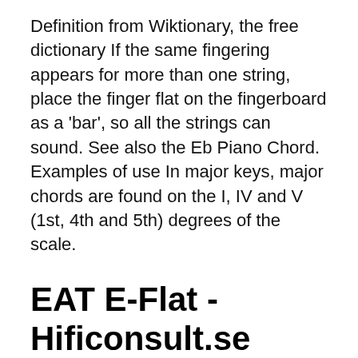Definition from Wiktionary, the free dictionary If the same fingering appears for more than one string, place the finger flat on the fingerboard as a 'bar', so all the strings can sound. See also the Eb Piano Chord. Examples of use In major keys, major chords are found on the I, IV and V (1st, 4th and 5th) degrees of the scale.
EAT E-Flat - Hificonsult.se
Chopin - Nocturne in E Flat Major (Op. 9 No. 2)Click the 🔔bell to always be notified on new uploads!♩ Listen on Spotify: http://spoti.fi/2LdpqK7♩ MIDI: http E-flat (plural E-flats) A tone intermediate between D and E-flat...